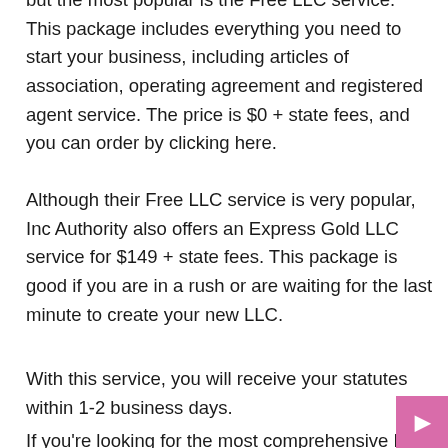but the most popular is the Free LLC service. This package includes everything you need to start your business, including articles of association, operating agreement and registered agent service. The price is $0 + state fees, and you can order by clicking here.
Although their Free LLC service is very popular, Inc Authority also offers an Express Gold LLC service for $149 + state fees. This package is good if you are in a rush or are waiting for the last minute to create your new LLC.
With this service, you will receive your statutes within 1-2 business days.
If you're looking for the most comprehensive LLC